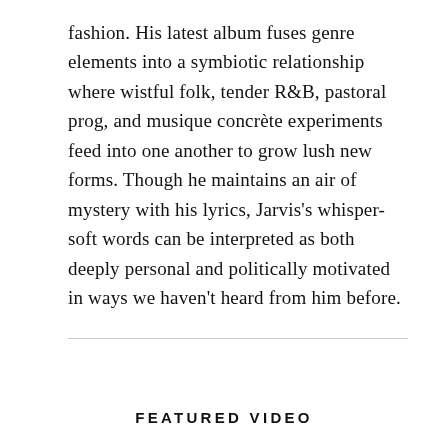fashion. His latest album fuses genre elements into a symbiotic relationship where wistful folk, tender R&B, pastoral prog, and musique concrète experiments feed into one another to grow lush new forms. Though he maintains an air of mystery with his lyrics, Jarvis's whisper-soft words can be interpreted as both deeply personal and politically motivated in ways we haven't heard from him before.
FEATURED VIDEO